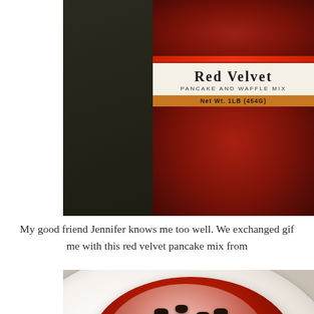[Figure (photo): Close-up photograph of a Red Velvet Pancake and Waffle Mix can (Net Wt. 1LB / 454G) on a dark background]
My good friend Jennifer knows me too well. We exchanged gif me with this red velvet pancake mix from
[Figure (photo): Red velvet pancake topped with powdered sugar and chocolate chips served on a white floral plate]